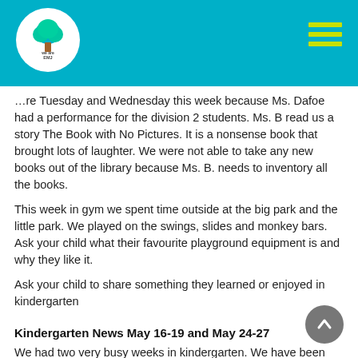We Are EMJ school website header with logo and navigation menu
…re Tuesday and Wednesday this week because Ms. Dafoe had a performance for the division 2 students.  Ms. B read us a story The Book with No Pictures.  It is a nonsense book that brought lots of laughter.  We were not able to take any new books out of the library because Ms. B. needs to inventory all the books.
This week in gym we spent time outside at the big park and the little park.  We played on the swings, slides and monkey bars.  Ask your child what their favourite playground equipment is and why they like it.
Ask your child to share something they learned or enjoyed in kindergarten
Kindergarten News May 16-19 and May 24-27
We had two very busy weeks in kindergarten.  We have been growing our own plants and learning about all the stages of plant life.  We have played at a variety of centres and continue to learn how to work together cooperatively.  We have even been able to go outside and almost the end from far in to go out to…